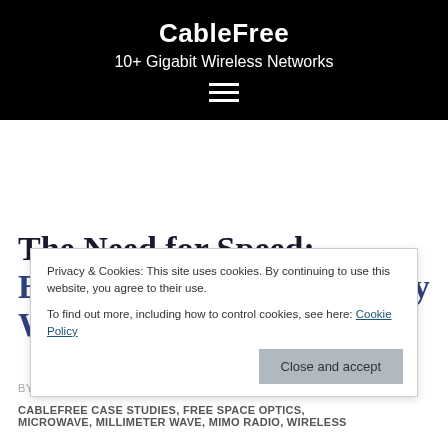CableFree
10+ Gigabit Wireless Networks
The Need for Speed: Building Ultra-Low Latency Wireless Networks
Privacy & Cookies: This site uses cookies. By continuing to use this website, you agree to their use.
To find out more, including how to control cookies, see here: Cookie Policy
Close and accept
BY ADMIN · MAY 13, 2016 ·
CABLEFREE CASE STUDIES, FREE SPACE OPTICS, MICROWAVE, MILLIMETER WAVE, MIMO RADIO, WIRELESS